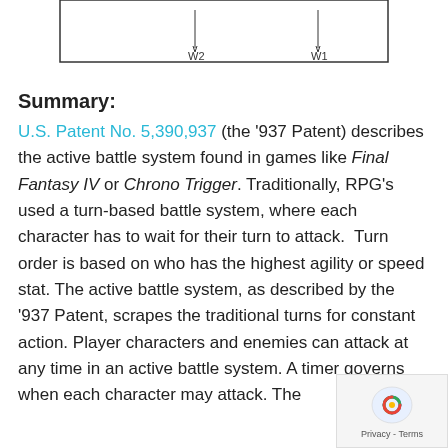[Figure (schematic): Partial diagram showing two labeled elements W2 and W1 inside a rectangular box, at the top of the page]
Summary:
U.S. Patent No. 5,390,937 (the '937 Patent) describes the active battle system found in games like Final Fantasy IV or Chrono Trigger. Traditionally, RPG's used a turn-based battle system, where each character has to wait for their turn to attack.  Turn order is based on who has the highest agility or speed stat. The active battle system, as described by the '937 Patent, scrapes the traditional turns for constant action. Player characters and enemies can attack at any time in an active battle system. A timer governs when each character may attack. The